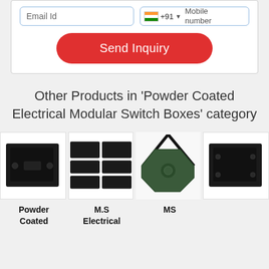[Figure (screenshot): Web form with Email Id input field, phone code field showing Indian flag +91 and Mobile number label, and a red Send Inquiry button]
Other Products in 'Powder Coated Electrical Modular Switch Boxes' category
[Figure (photo): Black powder coated electrical switch box, front view]
[Figure (photo): M.S Electrical modular switch boxes, multiple pieces shown]
[Figure (photo): MS octagonal junction box with cable, dark green color]
[Figure (photo): Black powder coated electrical switch box, side view]
Powder Coated
M.S Electrical
MS